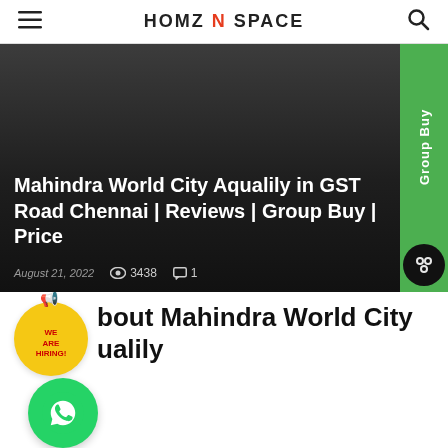HOMZ N SPACE
[Figure (screenshot): Dark hero image background with overlay text for Mahindra World City Aqualily article]
Mahindra World City Aqualily in GST Road Chennai | Reviews | Group Buy | Price
August 21, 2022   3438   1
About Mahindra World City Aqualily
Mahindra World City Aqualily to...